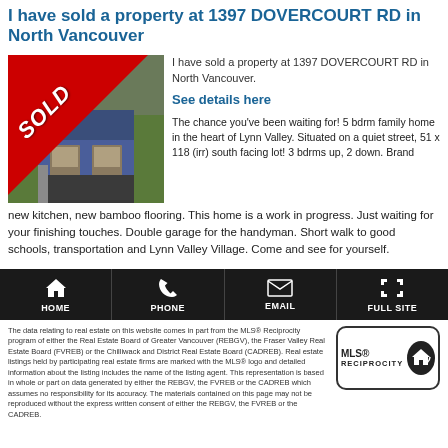I have sold a property at 1397 DOVERCOURT RD in North Vancouver
[Figure (photo): Photo of house at 1397 Dovercourt RD with red SOLD banner overlay in upper left corner]
I have sold a property at 1397 DOVERCOURT RD in North Vancouver.
See details here
The chance you've been waiting for! 5 bdrm family home in the heart of Lynn Valley. Situated on a quiet street, 51 x 118 (irr) south facing lot! 3 bdrms up, 2 down. Brand new kitchen, new bamboo flooring. This home is a work in progress. Just waiting for your finishing touches. Double garage for the handyman. Short walk to good schools, transportation and Lynn Valley Village. Come and see for yourself.
HOME | PHONE | EMAIL | FULL SITE
The data relating to real estate on this website comes in part from the MLS® Reciprocity program of either the Real Estate Board of Greater Vancouver (REBGV), the Fraser Valley Real Estate Board (FVREB) or the Chilliwack and District Real Estate Board (CADREB). Real estate listings held by participating real estate firms are marked with the MLS® logo and detailed information about the listing includes the name of the listing agent. This representation is based in whole or part on data generated by either the REBGV, the FVREB or the CADREB which assumes no responsibility for its accuracy. The materials contained on this page may not be reproduced without the express written consent of either the REBGV, the FVREB or the CADREB.